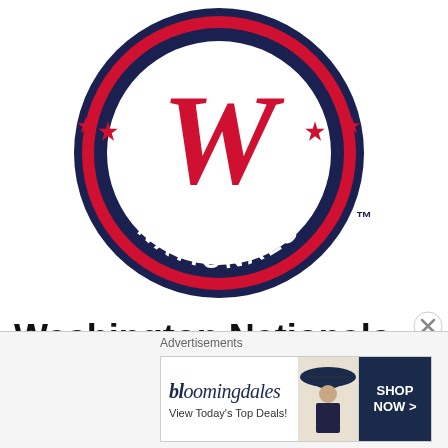[Figure (logo): Washington Nationals MLB team logo — circular navy blue badge with red rings, large red cursive 'W' in center on white inner circle, 'NATIONALS' text in white along bottom arc, two red stars on sides, trademark symbol bottom right]
Washington Nationals Payroll In 2017 + Contracts Going Forward
Advertisements
[Figure (other): Bloomingdale's advertisement banner — 'View Today's Top Deals!' with woman in navy hat, SHOP NOW button]